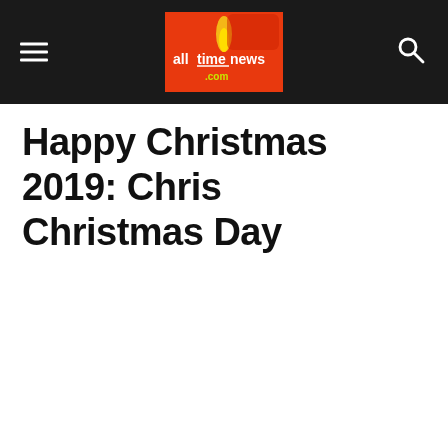alltimenews.com — navigation bar with hamburger menu and search icon
Happy Christmas 2019: Christ- Christmas Day